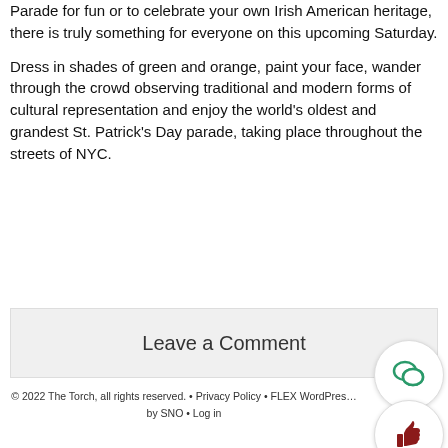Parade for fun or to celebrate your own Irish American heritage, there is truly something for everyone on this upcoming Saturday.
Dress in shades of green and orange, paint your face, wander through the crowd observing traditional and modern forms of cultural representation and enjoy the world’s oldest and grandest St. Patrick’s Day parade, taking place throughout the streets of NYC.
Leave a Comment
© 2022 The Torch, all rights reserved. • Privacy Policy • FLEX WordPress by SNO • Log in